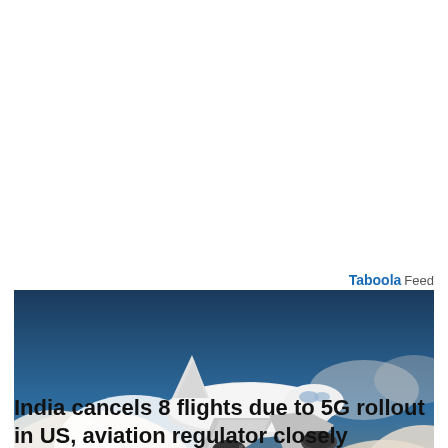Taboola Feed
[Figure (photo): A commercial passenger airplane taking off or flying low, viewed from below-front angle, against a dramatic sky with large white and golden-tinted clouds and a dark blue sky in the background.]
India cancels 8 flights due to 5G rollout in US, aviation regulator closely monitoring situation